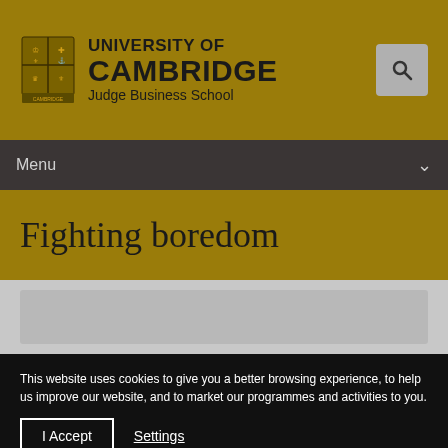[Figure (logo): University of Cambridge Judge Business School logo with shield/crest and text on gold background]
Menu
Fighting boredom
This website uses cookies to give you a better browsing experience, to help us improve our website, and to market our programmes and activities to you.
I Accept  Settings